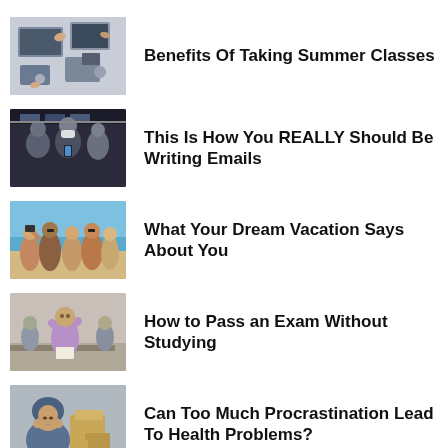[Figure (photo): Overhead view of people working at a table with laptops and devices]
Benefits Of Taking Summer Classes
[Figure (photo): People on a subway/metro train, one wearing a face mask]
This Is How You REALLY Should Be Writing Emails
[Figure (photo): Group of friends at the beach taking a selfie]
What Your Dream Vacation Says About You
[Figure (photo): Student stressed at a desk during exam]
How to Pass an Exam Without Studying
[Figure (photo): Person in hoodie with head in hands, looking stressed, boxes in background]
Can Too Much Procrastination Lead To Health Problems?